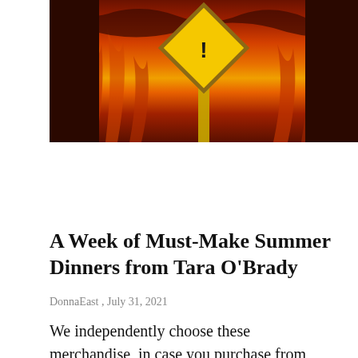[Figure (photo): A photograph showing flames and fire in orange and red tones, with a yellow diamond-shaped warning sign visible in the center upper portion of the image.]
A Week of Must-Make Summer Dinners from Tara O'Brady
DonnaEast , July 31, 2021
We independently choose these merchandise, in case you purchase from